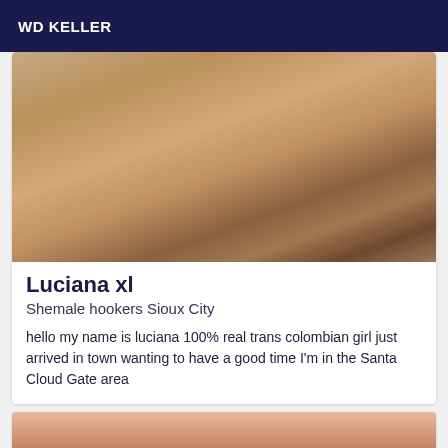WD KELLER
[Figure (photo): Close-up photo of a person's body with tattoo visible on right arm, lying on white bedding]
Luciana xl
Shemale hookers Sioux City
hello my name is luciana 100% real trans colombian girl just arrived in town wanting to have a good time I'm in the Santa Cloud Gate area
[Figure (photo): Partial photo of a person's face visible at bottom of page]